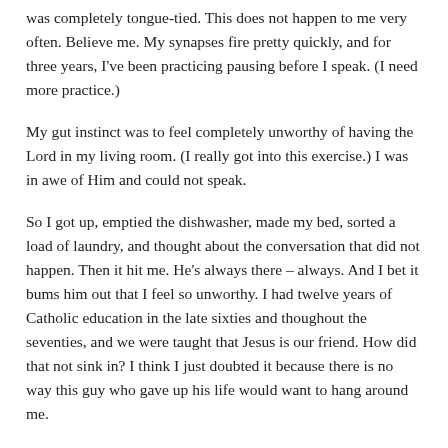was completely tongue-tied. This does not happen to me very often. Believe me. My synapses fire pretty quickly, and for three years, I've been practicing pausing before I speak. (I need more practice.)
My gut instinct was to feel completely unworthy of having the Lord in my living room. (I really got into this exercise.) I was in awe of Him and could not speak.
So I got up, emptied the dishwasher, made my bed, sorted a load of laundry, and thought about the conversation that did not happen. Then it hit me. He's always there – always. And I bet it bums him out that I feel so unworthy. I had twelve years of Catholic education in the late sixties and thoughout the seventies, and we were taught that Jesus is our friend. How did that not sink in? I think I just doubted it because there is no way this guy who gave up his life would want to hang around me.